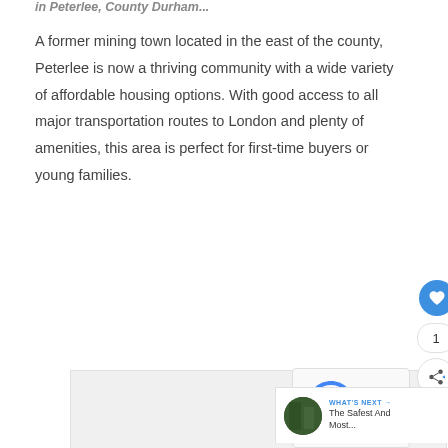in Peterlee, County Durham...
A former mining town located in the east of the county, Peterlee is now a thriving community with a wide variety of affordable housing options. With good access to all major transportation routes to London and plenty of amenities, this area is perfect for first-time buyers or young families.
[Figure (photo): Image carousel area showing a photo related to Peterlee, with navigation dots below. A reCAPTCHA widget is overlaid in the top-right corner. Social interaction buttons (like with count 1, share) are shown on the right side. A 'WHAT'S NEXT' panel is visible at the bottom right with a thumbnail and title 'The Safest And Most...']